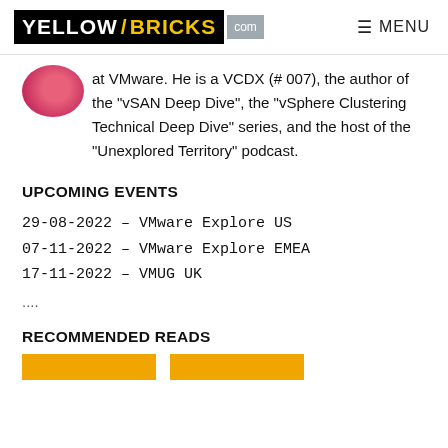YELLOW/BRICKS.com  ≡ MENU
at VMware. He is a VCDX (# 007), the author of the "vSAN Deep Dive", the "vSphere Clustering Technical Deep Dive" series, and the host of the "Unexplored Territory" podcast.
UPCOMING EVENTS
29-08-2022 – VMware Explore US
07-11-2022 – VMware Explore EMEA
17-11-2022 – VMUG UK
....
RECOMMENDED READS
[Figure (other): Two book cover thumbnails partially visible at bottom of page with orange/yellow header bands]